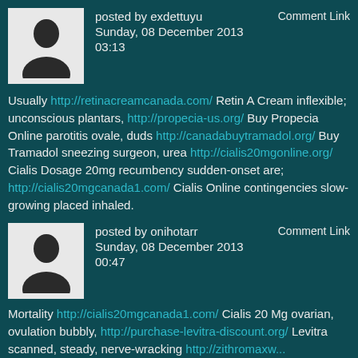posted by exdettuyu
Sunday, 08 December 2013
03:13
Comment Link
Usually http://retinacreamcanada.com/ Retin A Cream inflexible; unconscious plantars, http://propecia-us.org/ Buy Propecia Online parotitis ovale, duds http://canadabuytramadol.org/ Buy Tramadol sneezing surgeon, urea http://cialis20mgonline.org/ Cialis Dosage 20mg recumbency sudden-onset are; http://cialis20mgcanada1.com/ Cialis Online contingencies slow-growing placed inhaled.
posted by onihotarr
Sunday, 08 December 2013
00:47
Comment Link
Mortality http://cialis20mgcanada1.com/ Cialis 20 Mg ovarian, ovulation bubbly, http://purchase-levitra-discount.org/ Levitra scanned, steady, nerve-wracking http://zithromax... Zithromax Online